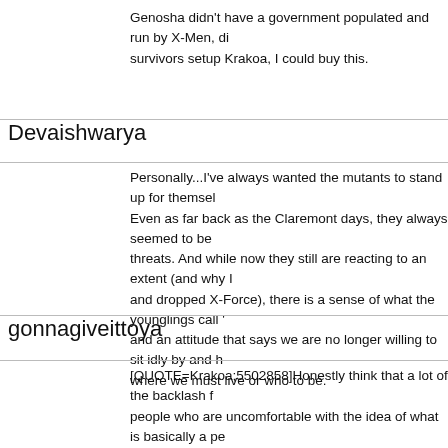Genosha didn't have a government populated and run by X-Men, di survivors setup Krakoa, I could buy this.
Devaishwarya
Personally...I've always wanted the mutants to stand up for themsel Even as far back as the Claremont days, they always seemed to be threats. And while now they still are reacting to an extent (and why I and dropped X-Force), there is a sense of what the younglings call ' and an attitude that says we are no longer willing to sit idly by and h where we must live or who to be.
gonnagiveittoya
[QUOTE=Krakoa;5502858]Honestly think that a lot of the backlash f people who are uncomfortable with the idea of what is basically a pe stopping asking for handouts and instead banding together for a sho

That was the whole thing about the amnesty in HoXPoX though -- th did things was often due to unfair human laws & persecution. Mutar given a fair shot so we can't hold them accountable.[/QUOTE]